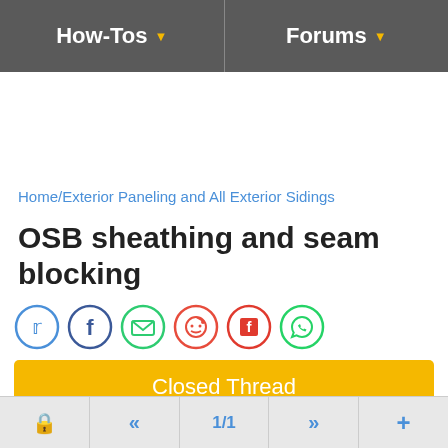How-Tos | Forums
Home/Exterior Paneling and All Exterior Sidings
OSB sheathing and seam blocking
[Figure (infographic): Social sharing icons: Twitter, Facebook, Email, Reddit, Flipboard, WhatsApp]
Closed Thread
M Morania , 11-12-13 10:30 PM #1
lock | << | 1/1 | >> | +